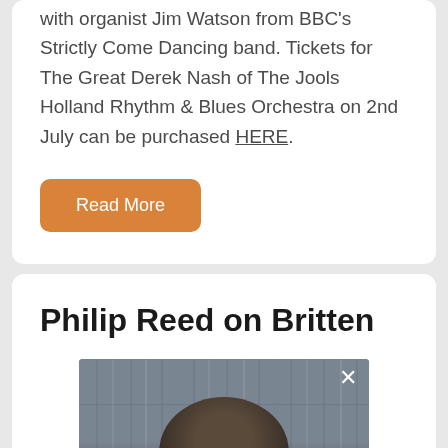with organist Jim Watson from BBC's Strictly Come Dancing band. Tickets for The Great Derek Nash of The Jools Holland Rhythm & Blues Orchestra on 2nd July can be purchased HERE.
Read More
Philip Reed on Britten
[Figure (photo): Video thumbnail showing a person seated in front of a bookshelf, with a close (X) button in the top right corner.]